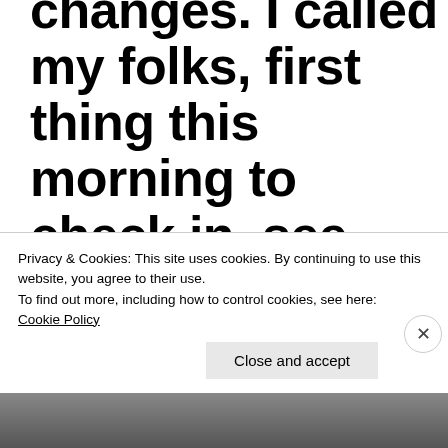changes. I called my folks, first thing this morning to check in, see how they're doing — and also pick them up a bit. I need to make this a regular routine, because that's what works for
Privacy & Cookies: This site uses cookies. By continuing to use this website, you agree to their use.
To find out more, including how to control cookies, see here:
Cookie Policy
Close and accept